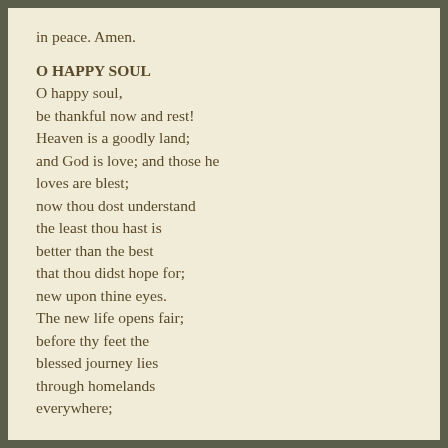in peace. Amen.
O HAPPY SOUL
O happy soul,
be thankful now and rest!
Heaven is a goodly land;
and God is love; and those he
loves are blest;
now thou dost understand
the least thou hast is
better than the best
that thou didst hope for;
new upon thine eyes.
The new life opens fair;
before thy feet the
blessed journey lies
through homelands
everywhere;